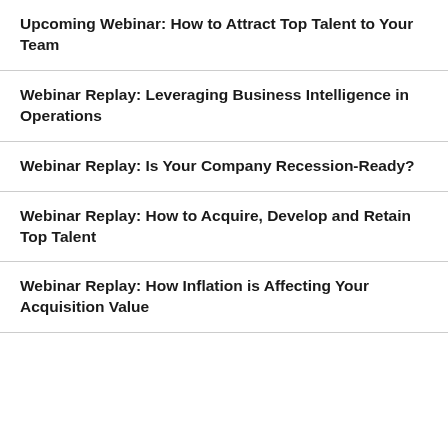Upcoming Webinar: How to Attract Top Talent to Your Team
Webinar Replay: Leveraging Business Intelligence in Operations
Webinar Replay: Is Your Company Recession-Ready?
Webinar Replay: How to Acquire, Develop and Retain Top Talent
Webinar Replay: How Inflation is Affecting Your Acquisition Value